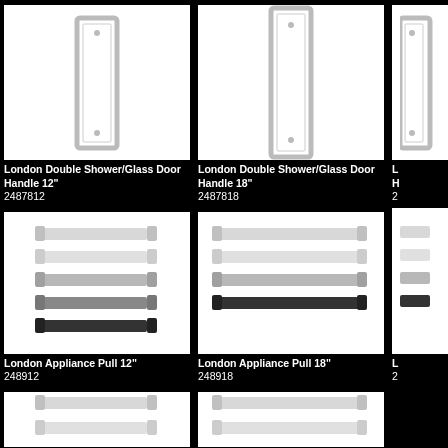[Figure (photo): London Double Shower/Glass Door Handle 12 inch product photo on white background]
London Double Shower/Glass Door Handle 12"
2487812
[Figure (photo): London Double Shower/Glass Door Handle 18 inch product photo on white background]
London Double Shower/Glass Door Handle 18"
2487818
[Figure (photo): London Double Shower/Glass Door Handle partial view on white background]
L
H
2
[Figure (photo): London Appliance Pull 12 inch product photo showing multiple pulls in different finishes on white background]
London Appliance Pull 12"
248912
[Figure (photo): London Appliance Pull 18 inch product photo showing multiple pulls in different finishes on white background]
London Appliance Pull 18"
248918
[Figure (photo): London Appliance Pull partial view on white background]
L
2
[Figure (photo): Bottom left partial product photo on white background]
[Figure (photo): Bottom center partial product photo on white background]